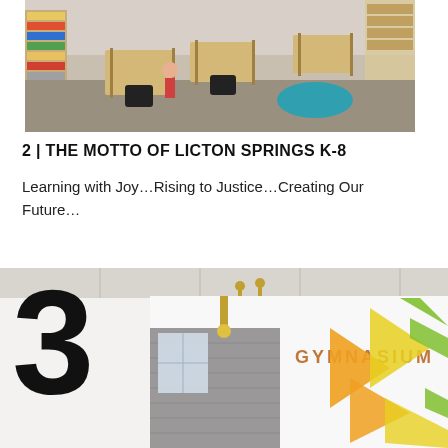[Figure (photo): Interior photo of a K-8 classroom with student desks, chairs, storage shelves with colorful bins, and a teal seating element. Children are visible working at desks.]
2 | THE MOTTO OF LICTON SPRINGS K-8
Learning with Joy…Rising to Justice…Creating Our Future…
[Figure (photo): Interior photo of a school gymnasium with the word GYMNASIUM on a white wall decorated with large geometric shapes in yellow, green, and orange. A large bold number 3 overlays the left side of the image. Gray brick walls and yellow pendant lights are visible.]